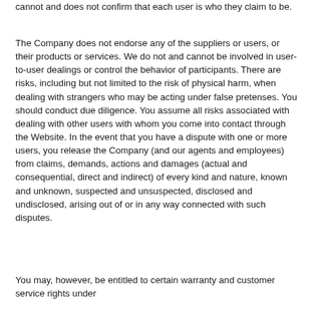cannot and does not confirm that each user is who they claim to be.
The Company does not endorse any of the suppliers or users, or their products or services. We do not and cannot be involved in user-to-user dealings or control the behavior of participants. There are risks, including but not limited to the risk of physical harm, when dealing with strangers who may be acting under false pretenses. You should conduct due diligence. You assume all risks associated with dealing with other users with whom you come into contact through the Website. In the event that you have a dispute with one or more users, you release the Company (and our agents and employees) from claims, demands, actions and damages (actual and consequential, direct and indirect) of every kind and nature, known and unknown, suspected and unsuspected, disclosed and undisclosed, arising out of or in any way connected with such disputes.
You may, however, be entitled to certain warranty and customer service rights under applicable law, and we do not intend for